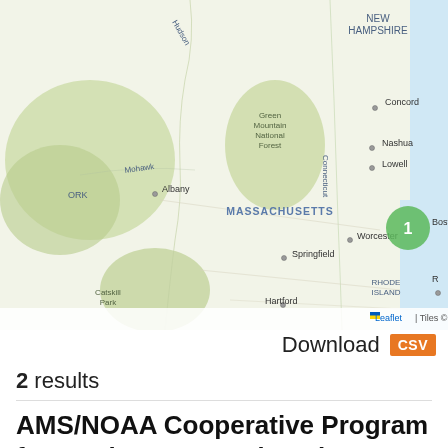[Figure (map): Interactive Leaflet/Esri map showing northeastern United States including New York, Vermont, New Hampshire, Massachusetts, Connecticut, Rhode Island. A green cluster marker showing '1' is placed near Boston, MA. Various city labels visible: Albany, Concord, Nashua, Lowell, Boston, Worcester, Springfield, Hartford. Region labels include MASSACHUSETTS, RHODE ISLAND. Green-shaded terrain areas: Green Mountain National Forest, Catskill Park.]
Download CSV
2 results
AMS/NOAA Cooperative Program for Earth System Education (CPESE)